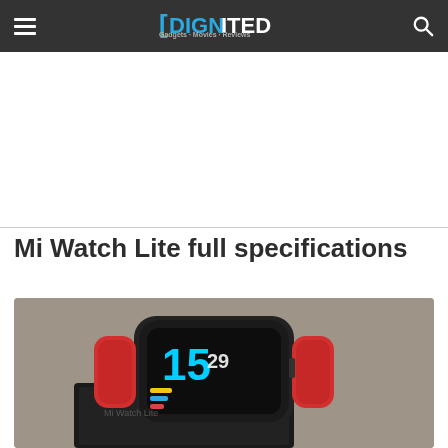DiGNITED — navigation bar with hamburger menu and search icon
[Figure (other): Advertisement placeholder (blank white space)]
Mi Watch Lite full specifications
[Figure (photo): Mi Watch Lite smartwatch with red band resting on its black box, showing a watch face displaying 15:29]